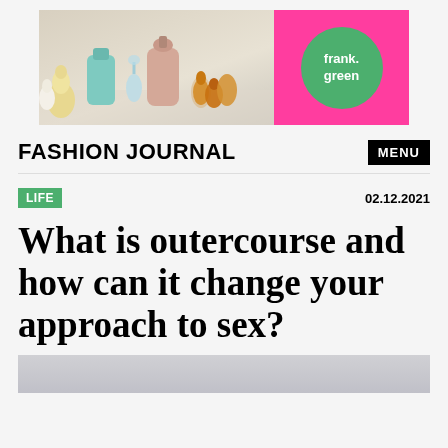[Figure (photo): Advertisement banner for frank.green brand. Left side shows perfume bottles and figurines on a shelf against a beige/grey background. Right side is hot pink with a green circle logo reading 'frank. green'.]
FASHION JOURNAL   MENU
LIFE   02.12.2021
What is outercourse and how can it change your approach to sex?
[Figure (photo): Partial image of a soft grey/white fabric or bedroom scene, cropped at bottom of page.]